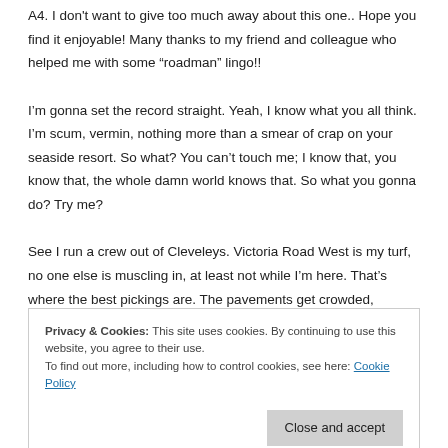A4. I don't want to give too much away about this one.. Hope you find it enjoyable! Many thanks to my friend and colleague who helped me with some “roadman” lingo!!
I'm gonna set the record straight. Yeah, I know what you all think. I'm scum, vermin, nothing more than a smear of crap on your seaside resort. So what? You can't touch me; I know that, you know that, the whole damn world knows that. So what you gonna do? Try me?
See I run a crew out of Cleveleys. Victoria Road West is my turf, no one else is muscling in, at least not while I'm here. That's where the best pickings are. The pavements get crowded, especially if there's a bit of sun. There's always someone thick enough to leave their table
Privacy & Cookies: This site uses cookies. By continuing to use this website, you agree to their use.
To find out more, including how to control cookies, see here: Cookie Policy
Close and accept
all got my mug shot up. They know me, I know them. It's nothing